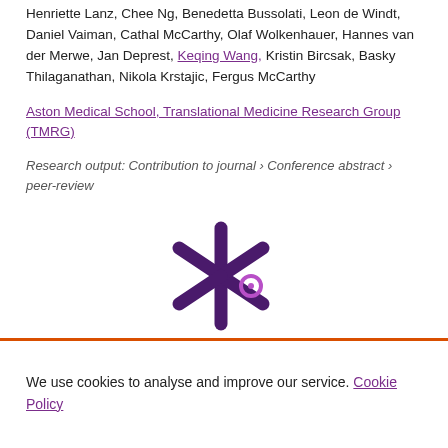Henriette Lanz, Chee Ng, Benedetta Bussolati, Leon de Windt, Daniel Vaiman, Cathal McCarthy, Olaf Wolkenhauer, Hannes van der Merwe, Jan Deprest, Keqing Wang, Kristin Bircsak, Basky Thilaganathan, Nikola Krstajic, Fergus McCarthy
Aston Medical School, Translational Medicine Research Group (TMRG)
Research output: Contribution to journal › Conference abstract › peer-review
[Figure (logo): Pure portal / Elsevier fingerprint engine logo — a stylized asterisk/star shape in dark purple with a small circle accent, in purple tones]
We use cookies to analyse and improve our service. Cookie Policy